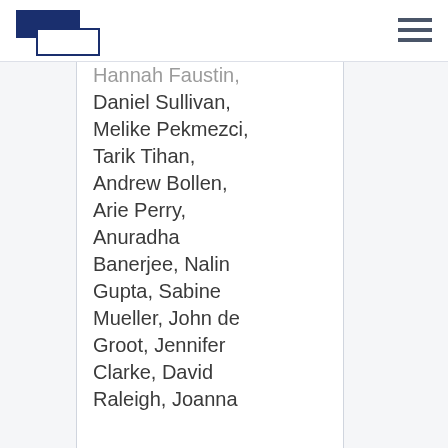Logo and navigation header
Hannah Faustin, Daniel Sullivan, Melike Pekmezci, Tarik Tihan, Andrew Bollen, Arie Perry, Anuradha Banerjee, Nalin Gupta, Sabine Mueller, John de Groot, Jennifer Clarke, David Raleigh, Joanna